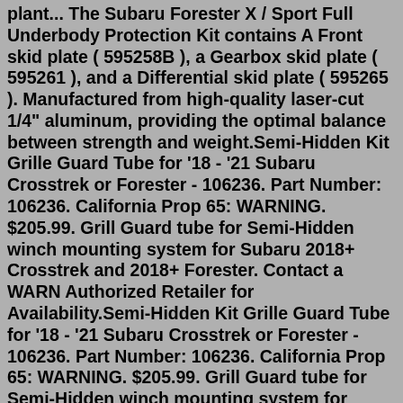plant... The Subaru Forester X / Sport Full Underbody Protection Kit contains A Front skid plate ( 595258B ), a Gearbox skid plate ( 595261 ), and a Differential skid plate ( 595265 ). Manufactured from high-quality laser-cut 1/4" aluminum, providing the optimal balance between strength and weight.Semi-Hidden Kit Grille Guard Tube for '18 - '21 Subaru Crosstrek or Forester - 106236. Part Number: 106236. California Prop 65: WARNING. $205.99. Grill Guard tube for Semi-Hidden winch mounting system for Subaru 2018+ Crosstrek and 2018+ Forester. Contact a WARN Authorized Retailer for Availability.Semi-Hidden Kit Grille Guard Tube for '18 - '21 Subaru Crosstrek or Forester - 106236. Part Number: 106236. California Prop 65: WARNING. $205.99. Grill Guard tube for Semi-Hidden winch mounting system for Subaru 2018+ Crosstrek and 2018+ Forester. Contact a WARN Authorized Retailer for Availability.Pro: A new Boxer engine. For 2021, Subaru adds some pep to the Crosstrek after taking some criticisms about the underpowered base 2.0-liter engine. For 2021, the